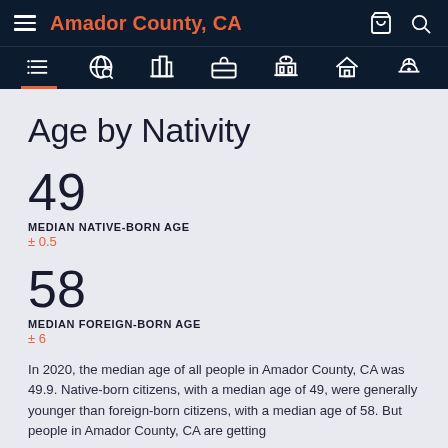Amador County, CA
Age by Nativity
49
MEDIAN NATIVE-BORN AGE
± 0.5
58
MEDIAN FOREIGN-BORN AGE
± 6
In 2020, the median age of all people in Amador County, CA was 49.9. Native-born citizens, with a median age of 49, were generally younger than foreign-born citizens, with a median age of 58. But people in Amador County, CA are getting...